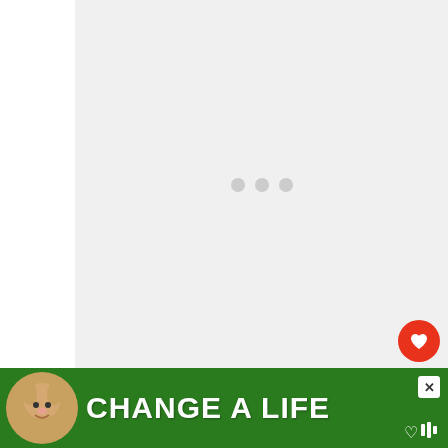[Figure (photo): Loading image placeholder with three grey dots on a light grey background]
The Heart of Midlothian
WHAT'S NEXT → Best things to do in...
Another curiosity in Edinburgh is next to
[Figure (photo): Advertisement banner: dog photo with text CHANGE A LIFE on green background]